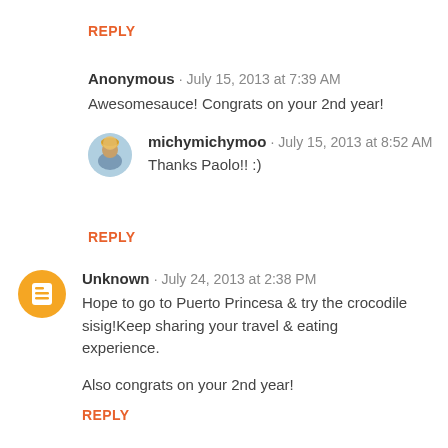REPLY
Anonymous · July 15, 2013 at 7:39 AM
Awesomesauce! Congrats on your 2nd year!
michymichymoo · July 15, 2013 at 8:52 AM
Thanks Paolo!! :)
REPLY
Unknown · July 24, 2013 at 2:38 PM
Hope to go to Puerto Princesa & try the crocodile sisig!Keep sharing your travel & eating experience.
Also congrats on your 2nd year!
REPLY